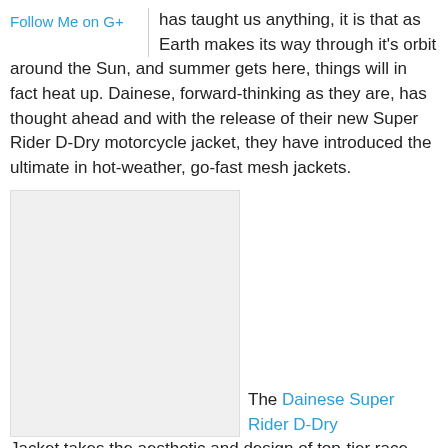Follow Me on G+
has taught us anything, it is that as Earth makes its way through it's orbit around the Sun, and summer gets here, things will in fact heat up. Dainese, forward-thinking as they are, has thought ahead and with the release of their new Super Rider D-Dry motorcycle jacket, they have introduced the ultimate in hot-weather, go-fast mesh jackets.
[Figure (photo): Blank/white image placeholder for the Dainese Super Rider D-Dry jacket photo]
The Dainese Super Rider D-Dry Jacket takes the aesthetic and design of top-tier race jackets and combines it with a super breezy textile mesh to strategically move a ton of air over riders in the saddle. With a Mugello fabric chassis that has been augmented with Tutu